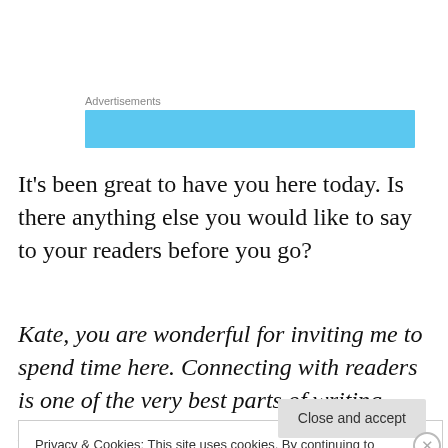[Figure (other): Advertisements banner - light blue rectangle placeholder ad banner with label 'Advertisements' above it]
It's been great to have you here today. Is there anything else you would like to say to your readers before you go?
Kate, you are wonderful for inviting me to spend time here. Connecting with readers is one of the very best parts of writing. Readers' support, helpful notes, and expressions
Privacy & Cookies: This site uses cookies. By continuing to use this website, you agree to their use.
To find out more, including how to control cookies, see here: Cookie Policy